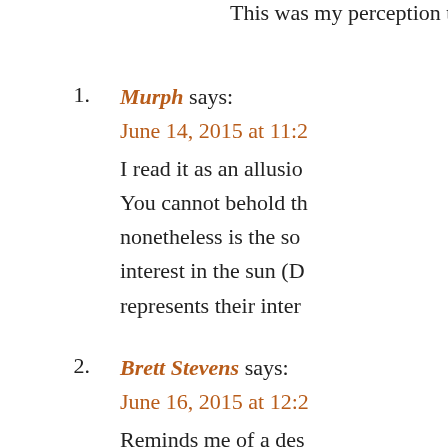This was my perception thou
1. Murph says:
June 14, 2015 at 11:2
I read it as an allusio
You cannot behold th
nonetheless is the so
interest in the sun (D
represents their inter
2. Brett Stevens says:
June 16, 2015 at 12:2
Reminds me of a des